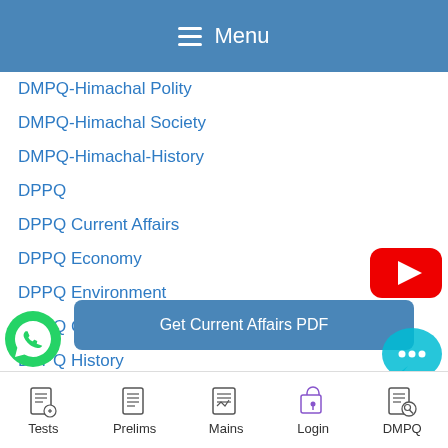≡ Menu
DMPQ-Himachal Polity
DMPQ-Himachal Society
DMPQ-Himachal-History
DPPQ
DPPQ Current Affairs
DPPQ Economy
DPPQ Environment
DPPQ Geography
DPPQ History
DPPQ Polity
DPPQ Science and Technology
[Figure (logo): YouTube play button icon (red rounded rectangle with white triangle)]
[Figure (logo): WhatsApp logo (green circle with phone handset icon)]
Get Current Affairs PDF
[Figure (logo): Chat bubble with ellipsis (teal/cyan color)]
Tests  Prelims  Mains  Login  DMPQ